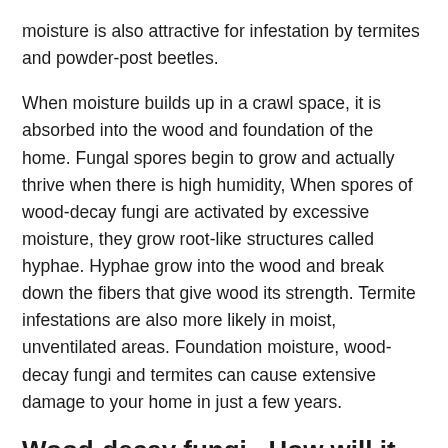moisture is also attractive for infestation by termites and powder-post beetles.
When moisture builds up in a crawl space, it is absorbed into the wood and foundation of the home. Fungal spores begin to grow and actually thrive when there is high humidity, When spores of wood-decay fungi are activated by excessive moisture, they grow root-like structures called hyphae. Hyphae grow into the wood and break down the fibers that give wood its strength. Termite infestations are also more likely in moist, unventilated areas. Foundation moisture, wood-decay fungi and termites can cause extensive damage to your home in just a few years.
Wood-decay fungi...How will it affect your home?
There are several different types of wood-decay fungi. The...